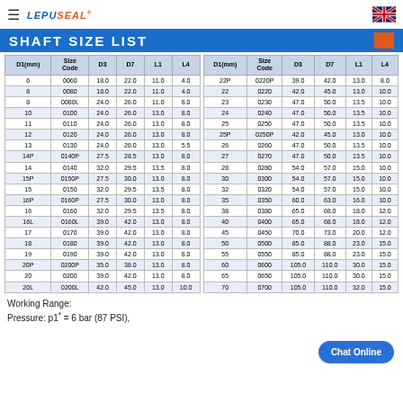LEPUSEAL
SHAFT SIZE LIST
| D1(mm) | Size Code | D3 | D7 | L1 | L4 |
| --- | --- | --- | --- | --- | --- |
| 6 | 0060 | 18.0 | 22.0 | 11.0 | 4.0 |
| 8 | 0080 | 18.0 | 22.0 | 11.0 | 4.0 |
| 8 | 0080L | 24.0 | 26.0 | 11.0 | 8.0 |
| 10 | 0100 | 24.0 | 26.0 | 13.0 | 8.0 |
| 11 | 0110 | 24.0 | 26.0 | 13.0 | 8.0 |
| 12 | 0120 | 24.0 | 26.0 | 13.0 | 8.0 |
| 13 | 0130 | 24.0 | 26.0 | 13.0 | 5.5 |
| 14P | 0140P | 27.5 | 28.5 | 13.0 | 8.0 |
| 14 | 0140 | 32.0 | 29.5 | 13.5 | 8.0 |
| 15P | 0150P | 27.5 | 30.0 | 13.0 | 8.0 |
| 15 | 0150 | 32.0 | 29.5 | 13.5 | 8.0 |
| 16P | 0160P | 27.5 | 30.0 | 13.0 | 8.0 |
| 16 | 0160 | 32.0 | 29.5 | 13.5 | 8.0 |
| 16L | 0160L | 39.0 | 42.0 | 13.0 | 8.0 |
| 17 | 0170 | 39.0 | 42.0 | 13.0 | 8.0 |
| 18 | 0180 | 39.0 | 42.0 | 13.0 | 8.0 |
| 19 | 0190 | 39.0 | 42.0 | 13.0 | 8.0 |
| 20P | 0200P | 35.0 | 38.0 | 13.0 | 8.0 |
| 20 | 0200 | 39.0 | 42.0 | 13.0 | 8.0 |
| 20L | 0200L | 42.0 | 45.0 | 13.0 | 10.0 |
| D1(mm) | Size Code | D3 | D7 | L1 | L4 |
| --- | --- | --- | --- | --- | --- |
| 22P | 0220P | 39.0 | 42.0 | 13.0 | 8.0 |
| 22 | 0220 | 42.0 | 45.0 | 13.0 | 10.0 |
| 23 | 0230 | 47.0 | 50.0 | 13.5 | 10.0 |
| 24 | 0240 | 47.0 | 50.0 | 13.5 | 10.0 |
| 25 | 0250 | 47.0 | 50.0 | 13.5 | 10.0 |
| 25P | 0250P | 42.0 | 45.0 | 13.0 | 10.0 |
| 26 | 0260 | 47.0 | 50.0 | 13.5 | 10.0 |
| 27 | 0270 | 47.0 | 50.0 | 13.5 | 10.0 |
| 28 | 0280 | 54.0 | 57.0 | 15.0 | 10.0 |
| 30 | 0300 | 54.0 | 57.0 | 15.0 | 10.0 |
| 32 | 0320 | 54.0 | 57.0 | 15.0 | 10.0 |
| 35 | 0350 | 60.0 | 63.0 | 16.0 | 10.0 |
| 38 | 0380 | 65.0 | 68.0 | 18.0 | 12.0 |
| 40 | 0400 | 65.0 | 68.0 | 18.0 | 12.0 |
| 45 | 0450 | 70.0 | 73.0 | 20.0 | 12.0 |
| 50 | 0500 | 85.0 | 88.0 | 23.0 | 15.0 |
| 55 | 0550 | 85.0 | 88.0 | 23.0 | 15.0 |
| 60 | 0600 | 105.0 | 110.0 | 30.0 | 15.0 |
| 65 | 0650 | 105.0 | 110.0 | 30.0 | 15.0 |
| 70 | 0700 | 105.0 | 110.0 | 32.0 | 15.0 |
Working Range:
Pressure: p1* = 6 bar (87 PSI),